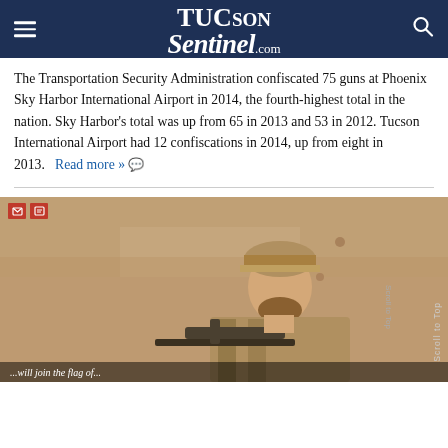TucsonSentinel.com
The Transportation Security Administration confiscated 75 guns at Phoenix Sky Harbor International Airport in 2014, the fourth-highest total in the nation. Sky Harbor's total was up from 65 in 2013 and 53 in 2012. Tucson International Airport had 12 confiscations in 2014, up from eight in 2013. Read more »
[Figure (photo): A man in military-style clothing holding a rifle, standing against a brown wall, with a partial caption at the bottom of the image.]